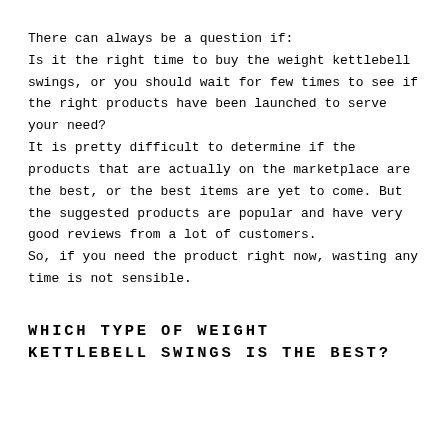There can always be a question if:
Is it the right time to buy the weight kettlebell swings, or you should wait for few times to see if the right products have been launched to serve your need?
It is pretty difficult to determine if the products that are actually on the marketplace are the best, or the best items are yet to come. But the suggested products are popular and have very good reviews from a lot of customers.
So, if you need the product right now, wasting any time is not sensible.
WHICH TYPE OF WEIGHT KETTLEBELL SWINGS IS THE BEST?